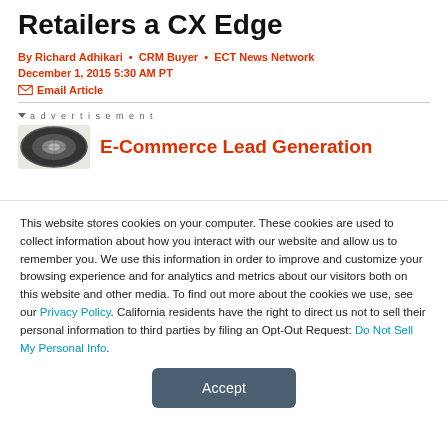Retailers a CX Edge
By Richard Adhikari • CRM Buyer • ECT News Network
December 1, 2015 5:30 AM PT
✉ Email Article
▾ advertisement
[Figure (other): Partial tire/wheel image beside an advertisement banner for E-Commerce Lead Generation]
E-Commerce Lead Generation
This website stores cookies on your computer. These cookies are used to collect information about how you interact with our website and allow us to remember you. We use this information in order to improve and customize your browsing experience and for analytics and metrics about our visitors both on this website and other media. To find out more about the cookies we use, see our Privacy Policy. California residents have the right to direct us not to sell their personal information to third parties by filing an Opt-Out Request: Do Not Sell My Personal Info.
Accept